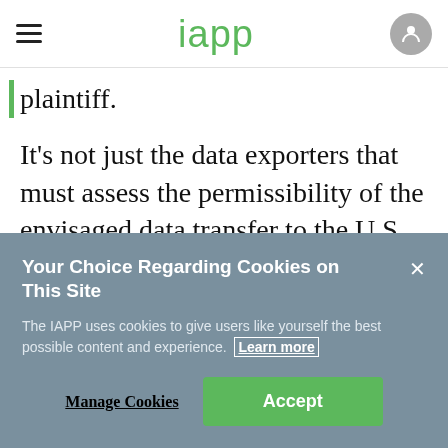iapp
plaintiff.
It's not just the data exporters that must assess the permissibility of the envisaged data transfer to the U.S. (taking into account the surveillance laws and practice in the U.S.), but also the German
Your Choice Regarding Cookies on This Site
The IAPP uses cookies to give users like yourself the best possible content and experience. Learn more
Manage Cookies   Accept